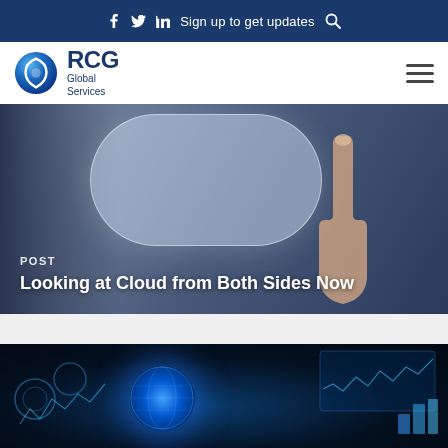f  Twitter  in  Sign up to get updates  🔍
[Figure (logo): RCG Global Services logo with circular shield icon in blue gradient and hamburger menu icon]
[Figure (photo): Hero image: hand pointing at a translucent glass orb/button against a blurred blue office background. Overlay text: POST / Looking at Cloud from Both Sides Now]
POST
Looking at Cloud from Both Sides Now
[Figure (photo): Dark technology background with glowing blue data globe, gear icons, digital HUD elements, charts and graphs overlaid on a dark navy background]